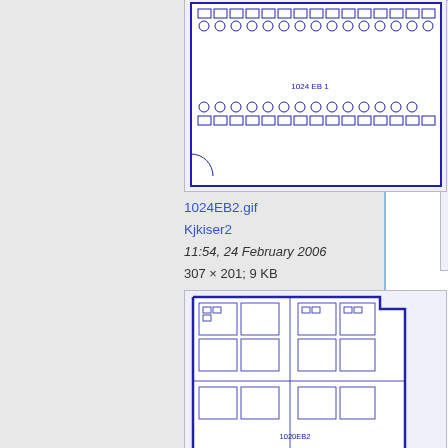[Figure (schematic): Blueprint-style floor plan showing classroom/lab layout with rows of desks and chairs, labeled '1024 EB 1', rendered in blue lines on white background]
1024EB2.gif
Kjkiser2
11:54, 24 February 2006
307 × 201; 9 KB
[Figure (schematic): Blueprint-style floor plan showing office/lab layout with multiple rooms and workstations, labeled '1020EB2', rendered in blue lines on white background]
1020EB2.gif
Kjkiser2
11:54, 24 February 2006
374 × 472; 22 KB